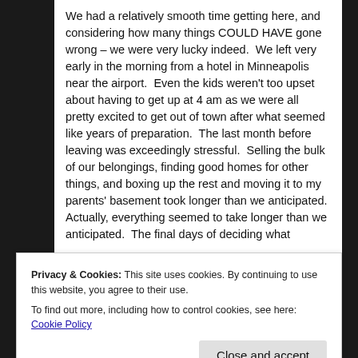We had a relatively smooth time getting here, and considering how many things COULD HAVE gone wrong – we were very lucky indeed.  We left very early in the morning from a hotel in Minneapolis near the airport.  Even the kids weren't too upset about having to get up at 4 am as we were all pretty excited to get out of town after what seemed like years of preparation.  The last month before leaving was exceedingly stressful.  Selling the bulk of our belongings, finding good homes for other things, and boxing up the rest and moving it to my parents' basement took longer than we anticipated.  Actually, everything seemed to take longer than we anticipated.  The final days of deciding what
Privacy & Cookies: This site uses cookies. By continuing to use this website, you agree to their use.
To find out more, including how to control cookies, see here: Cookie Policy
[Figure (photo): Partially visible photo strip at the bottom of the page]